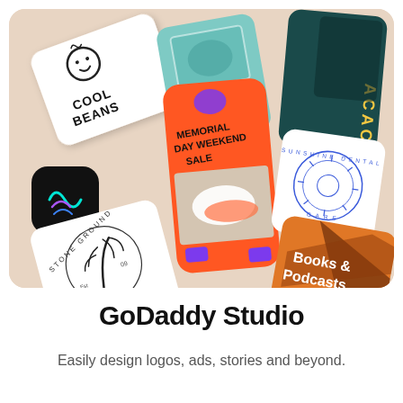[Figure (illustration): A collection of design templates and brand cards arranged in a diagonal grid on a beige background. Cards include: a 'Cool Beans' logo card with smiley face, a teal photo card, a dark 'Acacia' brand card, a black app icon with colorful loops, an orange 'Memorial Day Weekend Sale' social story card with a sneaker photo, a white 'Sunshine Dental Care' circular logo card, a 'Stone Ground' badge logo card, and an orange/brown 'Books & Podcasts' card.]
GoDaddy Studio
Easily design logos, ads, stories and beyond.